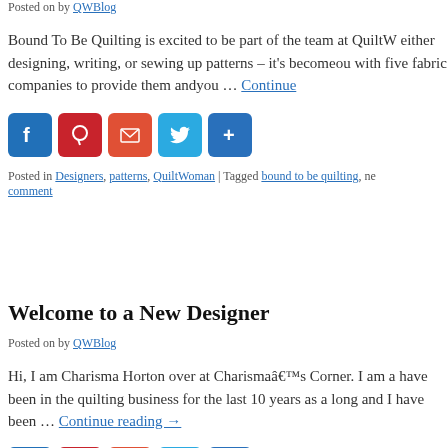Posted on by QWBlog
Bound To Be Quilting is excited to be part of the team at QuiltW either designing, writing, or sewing up patterns – it's becomeou with five fabric companies to provide them andyou … Continue
[Figure (infographic): Social sharing icons: Facebook, Pinterest, Gmail, Twitter, Share]
Posted in Designers, patterns, QuiltWoman | Tagged bound to be quilting, ne comment
Welcome to a New Designer
Posted on by QWBlog
Hi, I am Charisma Horton over at Charismaâ€™s Corner. I am a have been in the quilting business for the last 10 years as a long and I have been … Continue reading →
[Figure (infographic): Social sharing icons: Facebook, Pinterest, Gmail, Twitter, Share (partial)]